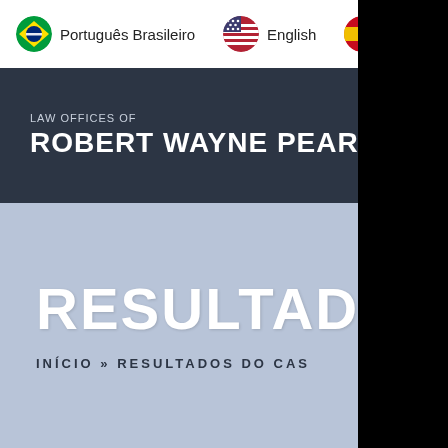Português Brasileiro  English  Español
LAW OFFICES OF ROBERT WAYNE PEARCE, P.A.
RESULTADOS DO CA
INÍCIO » RESULTADOS DO CAS